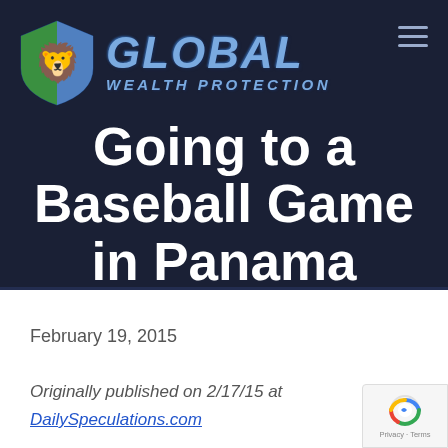[Figure (logo): Global Wealth Protection logo with shield icon (green and blue lion on shield) and stylized blue metallic text reading GLOBAL WEALTH PROTECTION]
Going to a Baseball Game in Panama
February 19, 2015
Originally published on 2/17/15 at
DailySpeculations.com